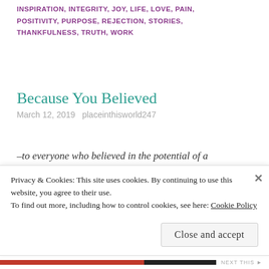INSPIRATION, INTEGRITY, JOY, LIFE, LOVE, PAIN, POSITIVITY, PURPOSE, REJECTION, STORIES, THANKFULNESS, TRUTH, WORK
Because You Believed
March 12, 2019   placeinthisworld247
–to everyone who believed in the potential of a woman with ordinary dreams
[Figure (photo): Photo of business people seated at a table, showing two women in foreground and a man partially visible on the right, against a teal/cyan background.]
Privacy & Cookies: This site uses cookies. By continuing to use this website, you agree to their use.
To find out more, including how to control cookies, see here: Cookie Policy
Close and accept